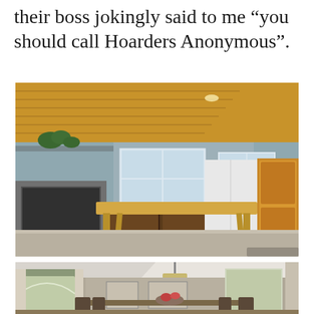their boss jokingly said to me “you should call Hoarders Anonymous”.
[Figure (photo): Interior kitchen photo showing a room with wood-paneled ceiling, dark wood cabinets, stainless steel stove, white refrigerator, a long wooden farm table in the center, and a pine armoire on the right side. Gray-blue walls with windows.]
[Figure (photo): Interior dining room photo showing a room with vaulted white ceiling, pendant light fixture, arched window, curtains, dining table with chairs, and framed artwork on walls.]